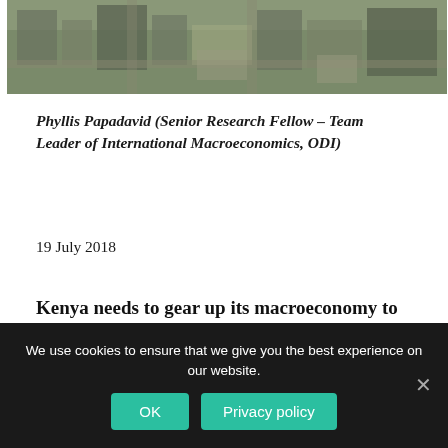[Figure (photo): Aerial view of a city with buildings, roads, and parking areas, appearing to be in Africa]
Phyllis Papadavid (Senior Research Fellow – Team Leader of International Macroeconomics, ODI)
19 July 2018
Kenya needs to gear up its macroeconomy to boost its manufacturing sector
We use cookies to ensure that we give you the best experience on our website.